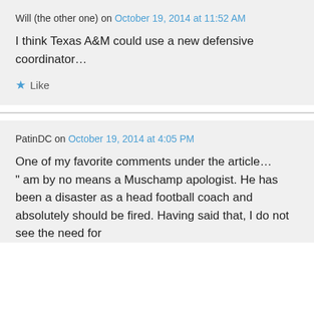Will (the other one) on October 19, 2014 at 11:52 AM
I think Texas A&M could use a new defensive coordinator…
★ Like
PatinDC on October 19, 2014 at 4:05 PM
One of my favorite comments under the article…
" am by no means a Muschamp apologist. He has been a disaster as a head football coach and absolutely should be fired. Having said that, I do not see the need for